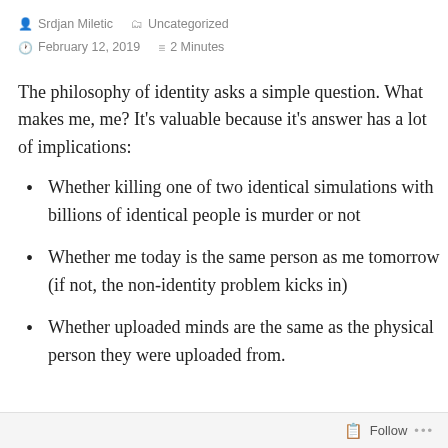Srdjan Miletic  Uncategorized  February 12, 2019  2 Minutes
The philosophy of identity asks a simple question. What makes me, me? It’s valuable because it’s answer has a lot of implications:
Whether killing one of two identical simulations with billions of identical people is murder or not
Whether me today is the same person as me tomorrow (if not, the non-identity problem kicks in)
Whether uploaded minds are the same as the physical person they were uploaded from.
Follow